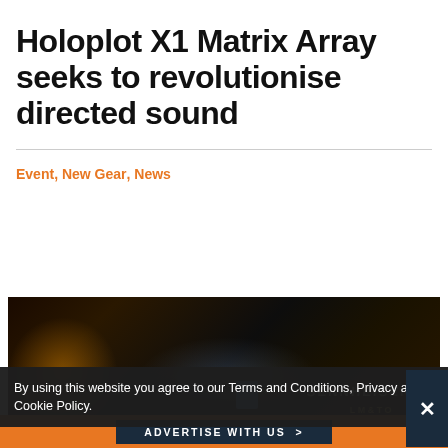Holoplot X1 Matrix Array seeks to revolutionise directed sound
Event, New Gear, News
[Figure (photo): Dark atmospheric photo showing audio/concert equipment with a glowing orange/warm light on left side and Sennheiser branding visible on right side]
By using this website you agree to our Terms and Conditions, Privacy and Cookie Policy.
ADVERTISE WITH US >